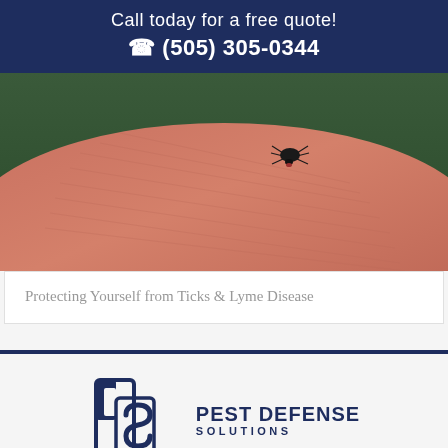Call today for a free quote! ☎ (505) 305-0344
[Figure (photo): Close-up photo of a tick on human skin, showing the tick embedded in a finger with visible skin texture and ridges]
Protecting Yourself from Ticks & Lyme Disease
[Figure (logo): Pest Defense Solutions logo with PDS shield icon and company name in dark navy blue]
Need a Quote?